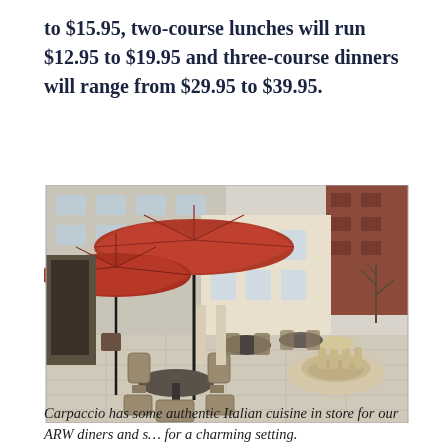to $15.95, two-course lunches will run $12.95 to $19.95 and three-course dinners will range from $29.95 to $39.95.
[Figure (photo): Outdoor patio dining area with red umbrellas, wicker chairs and round tables, a decorative stone fountain with horse sculptures in the background, and modern buildings surrounding the courtyard.]
Carpaccio has some authentic Italian cuisine in store for our ARW diners and s… for a charming setting.